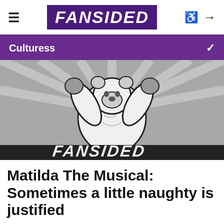FANSIDED
Culturess
[Figure (logo): FanSided mascot logo — a white bear/yeti flexing arms with gloves, with FANSIDED text below, on a gray stadium background]
Matilda The Musical: Sometimes a little naughty is justified